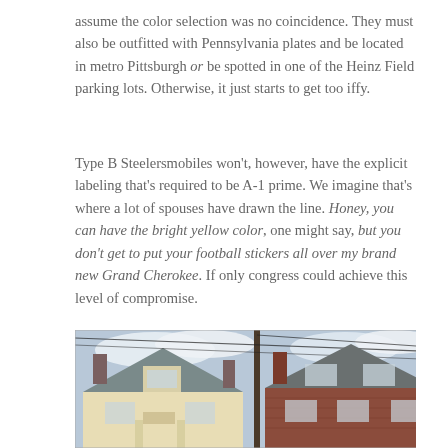assume the color selection was no coincidence. They must also be outfitted with Pennsylvania plates and be located in metro Pittsburgh or be spotted in one of the Heinz Field parking lots. Otherwise, it just starts to get too iffy.
Type B Steelersmobiles won't, however, have the explicit labeling that's required to be A-1 prime. We imagine that's where a lot of spouses have drawn the line. Honey, you can have the bright yellow color, one might say, but you don't get to put your football stickers all over my brand new Grand Cherokee. If only congress could achieve this level of compromise.
[Figure (photo): Outdoor photograph showing two residential houses side by side, with gray shingled roofs and chimneys, against a cloudy sky. A utility pole with wires is visible between them. The left house is painted light yellow/cream, the right house is red brick.]